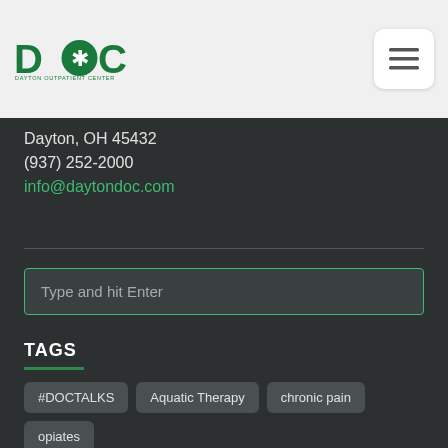[Figure (logo): Dayton Outpatient Center logo with DOC letters and snowflake icon]
Dayton, OH 45432
(937) 252-2000
info@daytondoc.com
Type and hit Enter
TAGS
#DOCTALKS
Aquatic Therapy
chronic pain
opiates
opioid epidemic
pain management
Pain Now Newsletter